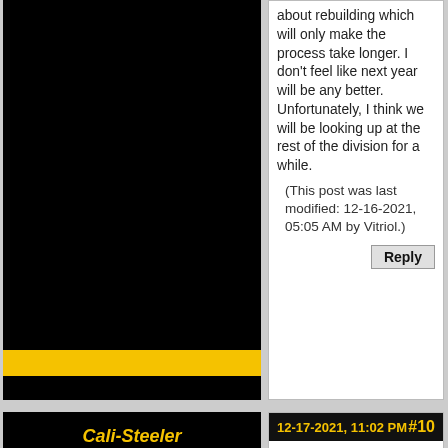about rebuilding which will only make the process take longer.  I don't feel like next year will be any better.  Unfortunately, I think we will be looking up at the rest of the division for a while.
(This post was last modified: 12-16-2021, 05:05 AM by Vitriol.)
Reply
Cali-Steeler
Hall of Famer
[Figure (illustration): Five Steelers logo icons in a row]
[Figure (photo): User avatar photo]
Posts: 5,709
Joined: Apr 2017
12-17-2021, 11:02 PM   #10
Would like the Steeler's to win. But 2 division games left - and the tits and Chiefs. I think we are lucky to get one game out of this realistically. Don't get me wrong. 3 of these games maybe close.
But the Steelers don't have the o-line or the personel or coach to pull this off. As much as Id like it to be 10-6-1 It will most likely be 7-9-1. What a shitty year. I mean